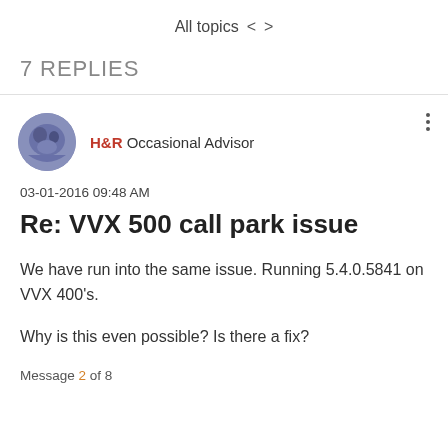All topics  <  >
7 REPLIES
H&R Occasional Advisor
03-01-2016 09:48 AM
Re: VVX 500 call park issue
We have run into the same issue. Running 5.4.0.5841 on VVX 400's.

Why is this even possible? Is there a fix?
Message 2 of 8